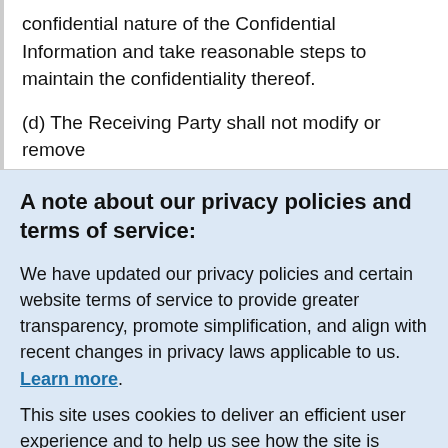confidential nature of the Confidential Information and take reasonable steps to maintain the confidentiality thereof.
(d) The Receiving Party shall not modify or remove
A note about our privacy policies and terms of service:
We have updated our privacy policies and certain website terms of service to provide greater transparency, promote simplification, and align with recent changes in privacy laws applicable to us. Learn more.
This site uses cookies to deliver an efficient user experience and to help us see how the site is used. Learn more. OK